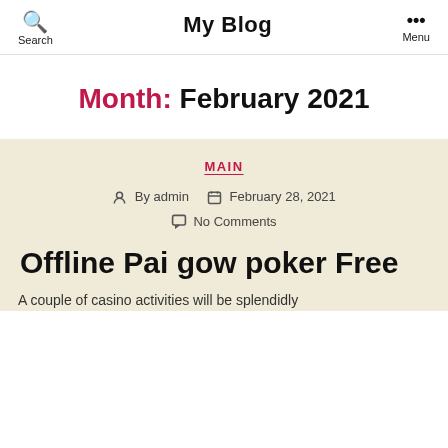Search  My Blog  Menu
Month: February 2021
MAIN
By admin  February 28, 2021  No Comments
Offline Pai gow poker Free
A couple of casino activities will be splendidly